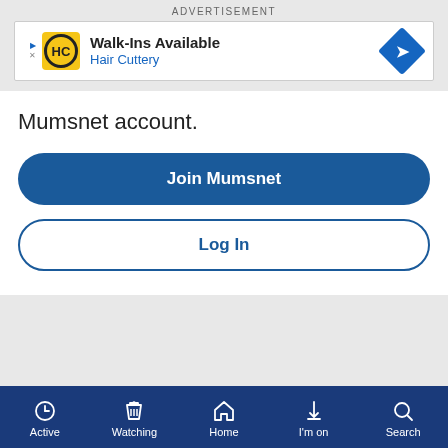ADVERTISEMENT
[Figure (screenshot): Hair Cuttery advertisement banner: logo with HC initials on yellow background, text 'Walk-Ins Available' and 'Hair Cuttery' in blue, blue diamond arrow icon on right]
Mumsnet account.
Join Mumsnet
Log In
ADVERTISEMENT
Active  Watching  Home  I'm on  Search